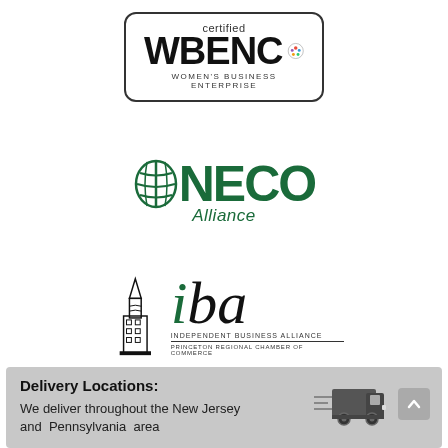[Figure (logo): Certified WBENC Women's Business Enterprise logo with rounded rectangle border]
[Figure (logo): NECO Alliance logo with green globe/sphere icon and green text]
[Figure (logo): IBA Independent Business Alliance - Princeton Regional Chamber of Commerce logo with building/tower icon]
Delivery Locations: We deliver throughout the New Jersey and Pennsylvania area